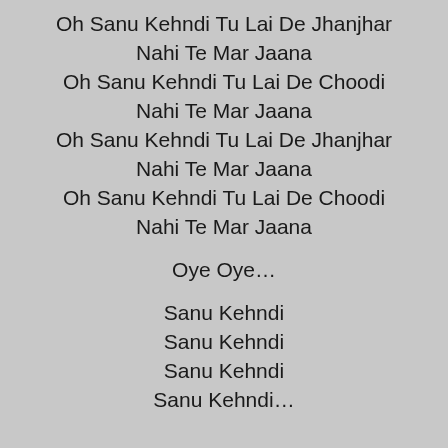Oh Sanu Kehndi Tu Lai De Jhanjhar
Nahi Te Mar Jaana
Oh Sanu Kehndi Tu Lai De Choodi
Nahi Te Mar Jaana
Oh Sanu Kehndi Tu Lai De Jhanjhar
Nahi Te Mar Jaana
Oh Sanu Kehndi Tu Lai De Choodi
Nahi Te Mar Jaana

Oye Oye…

Sanu Kehndi
Sanu Kehndi
Sanu Kehndi
Sanu Kehndi…
Written By: